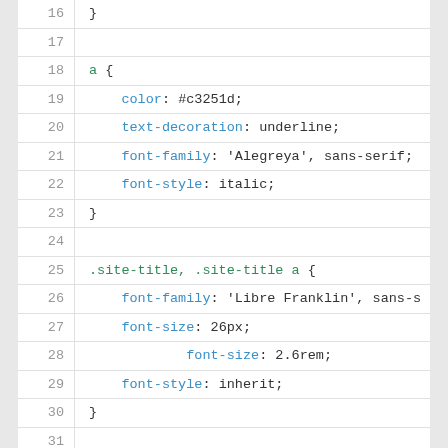Code viewer showing CSS lines 16-35 with line numbers and syntax highlighting
| line | code |
| --- | --- |
| 16 | } |
| 17 |  |
| 18 | a { |
| 19 |     color: #c3251d; |
| 20 |     text-decoration: underline; |
| 21 |     font-family: 'Alegreya', sans-serif; |
| 22 |     font-style: italic; |
| 23 | } |
| 24 |  |
| 25 | .site-title, .site-title a { |
| 26 |     font-family: 'Libre Franklin', sans-s |
| 27 |     font-size: 26px; |
| 28 |             font-size: 2.6rem; |
| 29 |     font-style: inherit; |
| 30 | } |
| 31 |  |
| 32 | .site-description { |
| 33 |     font-family: 'Alegreya', sans-serif; |
| 34 |     font-style: italic; |
| 35 | } |